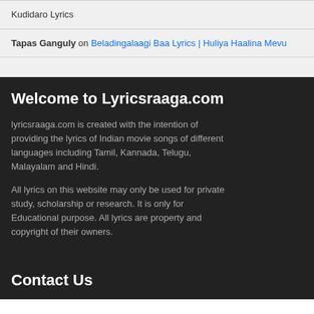Kudidaro Lyrics
Tapas Ganguly on Beladingalaagi Baa Lyrics | Huliya Haalina Mevu
Welcome to Lyricsraaga.com
lyricsraaga.com is created with the intention of providing the lyrics of Indian movie songs of different languages including Tamil, Kannada, Telugu, Malayalam and Hindi.
All lyrics on this website may only be used for private study, scholarship or research. It is only for Educational purpose. All lyrics are property and copyright of their owners.
Contact Us